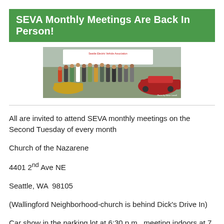SEVA Monthly Meetings Are Back In Person!
[Figure (photo): Group photo of SEVA (Seattle Electric Vehicle Association) members standing outdoors in front of a banner reading 'Seattle Electric Vehicle Association'. Members are posing with electric vehicles including a red sports car. Photo credit: Steve Lowell.]
All are invited to attend SEVA monthly meetings on the Second Tuesday of every month
Church of the Nazarene
4401 2nd Ave NE
Seattle, WA  98105
(Wallingford Neighborhood-church is behind Dick's Drive In)
Car show in the parking lot at 6:30 p.m., meeting indoors at 7 p.m.